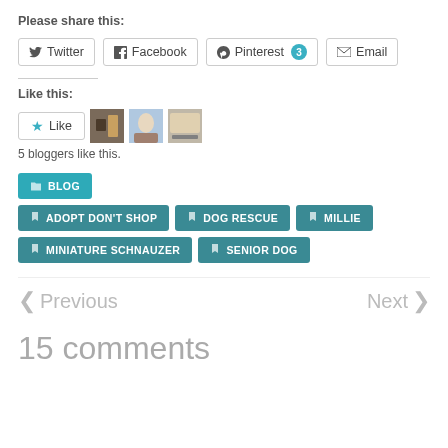Please share this:
Twitter
Facebook
Pinterest 3
Email
Like this:
5 bloggers like this.
BLOG
ADOPT DON'T SHOP
DOG RESCUE
MILLIE
MINIATURE SCHNAUZER
SENIOR DOG
< Previous
Next >
15 comments